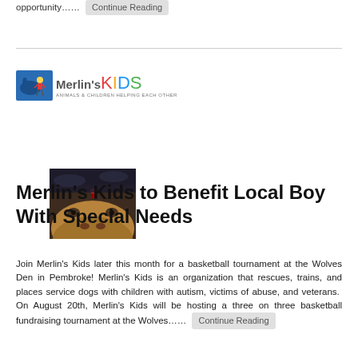opportunity…… Continue Reading
[Figure (logo): Merlin's Kids logo with dog and child image]
Merlin's Kids to Benefit Local Boy With Special Needs
Join Merlin's Kids later this month for a basketball tournament at the Wolves Den in Pembroke! Merlin's Kids is an organization that rescues, trains, and places service dogs with children with autism, victims of abuse, and veterans.  On August 20th, Merlin's Kids will be hosting a three on three basketball fundraising tournament at the Wolves…… Continue Reading